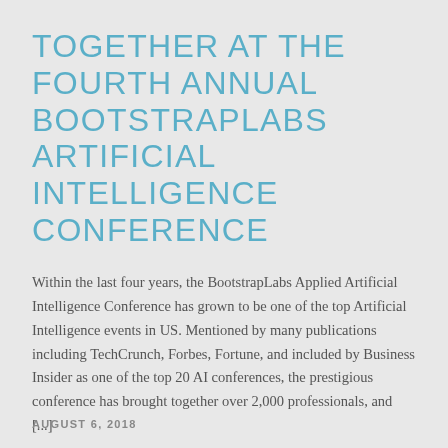TOGETHER AT THE FOURTH ANNUAL BOOTSTRAPLABS ARTIFICIAL INTELLIGENCE CONFERENCE
Within the last four years, the BootstrapLabs Applied Artificial Intelligence Conference has grown to be one of the top Artificial Intelligence events in US. Mentioned by many publications including TechCrunch, Forbes, Fortune, and included by Business Insider as one of the top 20 AI conferences, the prestigious conference has brought together over 2,000 professionals, and [...]
AUGUST 6, 2018